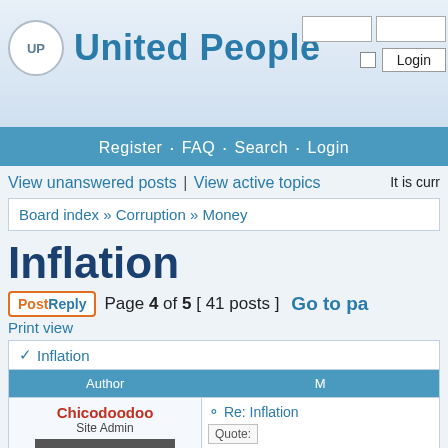[Figure (logo): United People forum logo with UP circle and site name]
Register • FAQ • Search • Login
View unanswered posts | View active topics  It is curr
Board index » Corruption » Money
Inflation
Post Reply  Page 4 of 5  [ 41 posts ]  Go to pa
Print view
✓ Inflation
| Author | M |
| --- | --- |
| Chicodoodoo
Site Admin | Re: Inflation
Quote: |